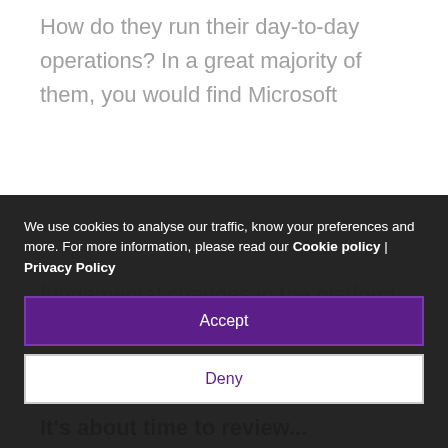How do they run their day-to-day operations? In a great majority of them, you would find Microsoft
We use cookies to analyse our traffic, know your preferences and more. For more information, please read our Cookie policy | Privacy Policy
Accept
Deny
fundamental changes in the platform infrastructure from on-premises to on-cloud.
It's about time to review...